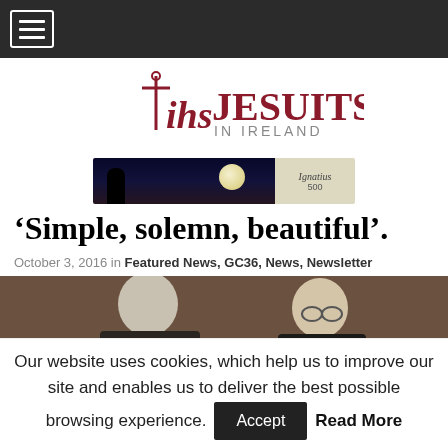Navigation menu bar with hamburger icon
[Figure (logo): IHS Jesuits in Ireland logo with cross symbol, 'ihs' in dark red serif and 'JESUITS IN IRELAND' in dark red/grey]
[Figure (photo): Banner advertisement for Ignatius 500 showing a figure looking at the moon against a night sky]
‘Simple, solemn, beautiful’.
October 3, 2016 in Featured News, GC36, News, Newsletter
[Figure (photo): Photo of two elderly men in dark clothing, appearing to greet each other, in an ornate interior]
Our website uses cookies, which help us to improve our site and enables us to deliver the best possible browsing experience.